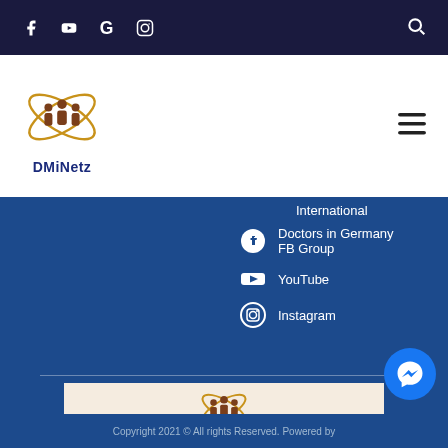Social media icons: Facebook, YouTube, Google, Instagram, Search
[Figure (logo): DMiNetz logo with stylized people silhouettes and orbital rings in gold/brown, text 'DMiNetz' in dark blue below]
International
Doctors in Germany FB Group
YouTube
Instagram
[Figure (logo): DMiNetz logo on beige/cream background with text 'DMiNetz' in dark blue]
Copyright 2021 © All rights Reserved. Powered by